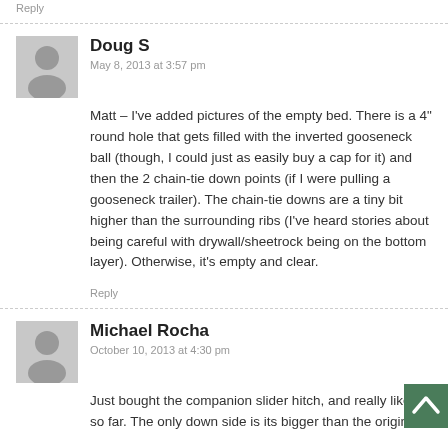Reply
Doug S
May 8, 2013 at 3:57 pm
Matt – I've added pictures of the empty bed. There is a 4" round hole that gets filled with the inverted gooseneck ball (though, I could just as easily buy a cap for it) and then the 2 chain-tie down points (if I were pulling a gooseneck trailer). The chain-tie downs are a tiny bit higher than the surrounding ribs (I've heard stories about being careful with drywall/sheetrock being on the bottom layer). Otherwise, it's empty and clear.
Reply
Michael Rocha
October 10, 2013 at 4:30 pm
Just bought the companion slider hitch, and really like it so far. The only down side is its bigger than the original